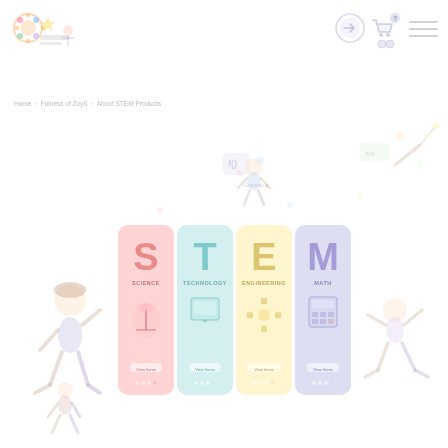[Figure (logo): Colorful children educational website logo with icons]
[Figure (illustration): Navigation icons: login arrow, shopping cart, hamburger menu]
Home >Fulness of ZoyS > About STEM Products
[Figure (illustration): Main educational STEM page illustration with decorative child figures on left and right, and four STEM cards (S=Science, T=Technology, E=Engineering, M=Math) in the center, with floating decorative elements]